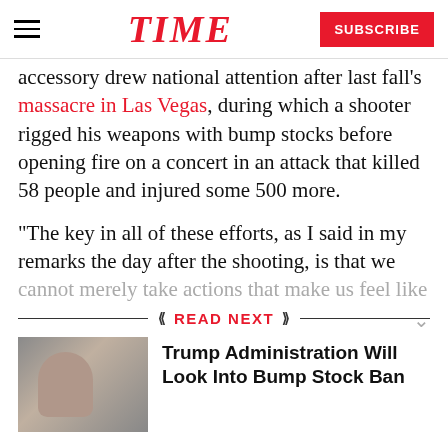TIME
accessory drew national attention after last fall's massacre in Las Vegas, during which a shooter rigged his weapons with bump stocks before opening fire on a concert in an attack that killed 58 people and injured some 500 more.
“The key in all of these efforts, as I said in my remarks the day after the shooting, is that we cannot merely take actions that make us feel like
READ NEXT
[Figure (photo): Photo of a man in a suit speaking, likely at a podium]
Trump Administration Will Look Into Bump Stock Ban